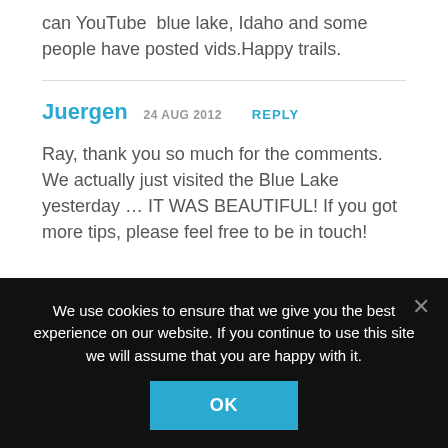can YouTube  blue lake, Idaho and some people have posted vids.Happy trails.
Juergen 24 AUG 2012 REPLY
Ray, thank you so much for the comments. We actually just visited the Blue Lake yesterday … IT WAS BEAUTIFUL! If you got more tips, please feel free to be in touch!
We use cookies to ensure that we give you the best experience on our website. If you continue to use this site we will assume that you are happy with it.